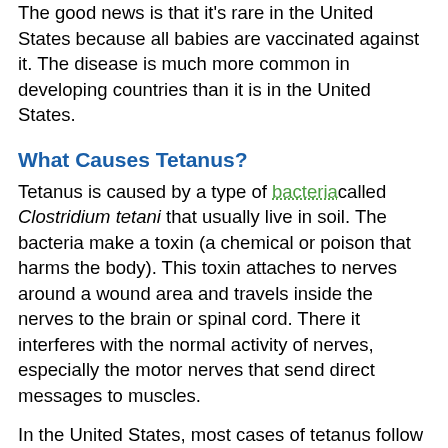The good news is that it's rare in the United States because all babies are vaccinated against it. The disease is much more common in developing countries than it is in the United States.
What Causes Tetanus?
Tetanus is caused by a type of bacteria called Clostridium tetani that usually live in soil. The bacteria make a toxin (a chemical or poison that harms the body). This toxin attaches to nerves around a wound area and travels inside the nerves to the brain or spinal cord. There it interferes with the normal activity of nerves, especially the motor nerves that send direct messages to muscles.
In the United States, most cases of tetanus follow a contaminated cut or deep puncture injury, such as a wound caused by stepping on a nail. Sometimes the